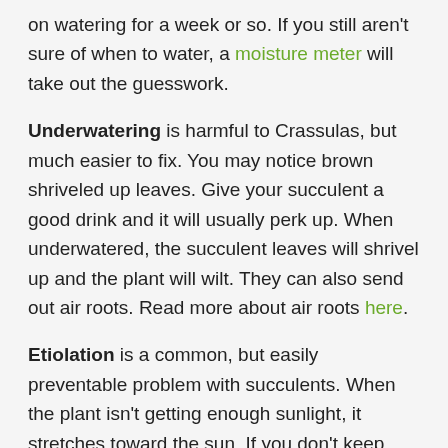on watering for a week or so. If you still aren't sure of when to water, a moisture meter will take out the guesswork.
Underwatering is harmful to Crassulas, but much easier to fix. You may notice brown shriveled up leaves. Give your succulent a good drink and it will usually perk up. When underwatered, the succulent leaves will shrivel up and the plant will wilt. They can also send out air roots. Read more about air roots here.
Etiolation is a common, but easily preventable problem with succulents. When the plant isn't getting enough sunlight, it stretches toward the sun. If you don't keep your crassula in a bright location, it will grow stretched and less attractive.